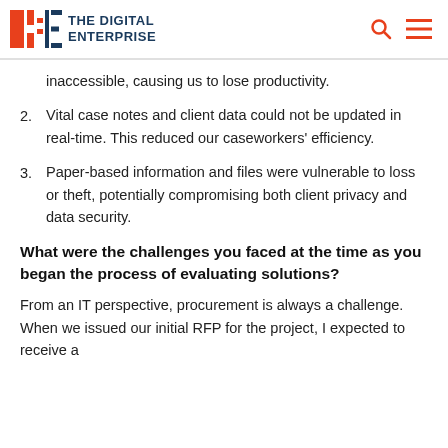THE DIGITAL ENTERPRISE
inaccessible, causing us to lose productivity.
2. Vital case notes and client data could not be updated in real-time. This reduced our caseworkers' efficiency.
3. Paper-based information and files were vulnerable to loss or theft, potentially compromising both client privacy and data security.
What were the challenges you faced at the time as you began the process of evaluating solutions?
From an IT perspective, procurement is always a challenge. When we issued our initial RFP for the project, I expected to receive a